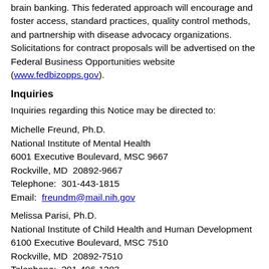brain banking. This federated approach will encourage and foster access, standard practices, quality control methods, and partnership with disease advocacy organizations. Solicitations for contract proposals will be advertised on the Federal Business Opportunities website (www.fedbizopps.gov).
Inquiries
Inquiries regarding this Notice may be directed to:
Michelle Freund, Ph.D.
National Institute of Mental Health
6001 Executive Boulevard, MSC 9667
Rockville, MD  20892-9667
Telephone:  301-443-1815
Email:  freundm@mail.nih.gov
Melissa Parisi, Ph.D.
National Institute of Child Health and Human Development
6100 Executive Boulevard, MSC 7510
Rockville, MD  20892-7510
Telephone:  301-496-1383
Email:  parisima@mail.nih.gov
Anna Taylor, Ph.D.